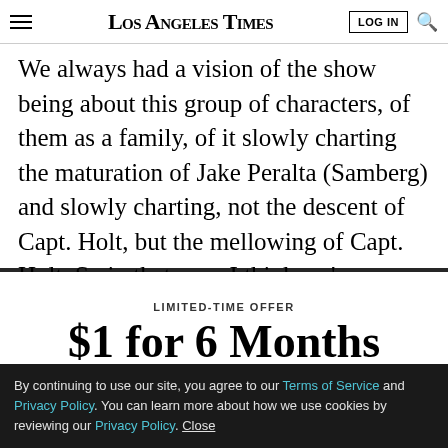Los Angeles Times
We always had a vision of the show being about this group of characters, of them as a family, of it slowly charting the maturation of Jake Peralta (Samberg) and slowly charting, not the descent of Capt. Holt, but the mellowing of Capt. Holt. So in that way, I think we've
LIMITED-TIME OFFER
$1 for 6 Months
SUBSCRIBE NOW
By continuing to use our site, you agree to our Terms of Service and Privacy Policy. You can learn more about how we use cookies by reviewing our Privacy Policy. Close